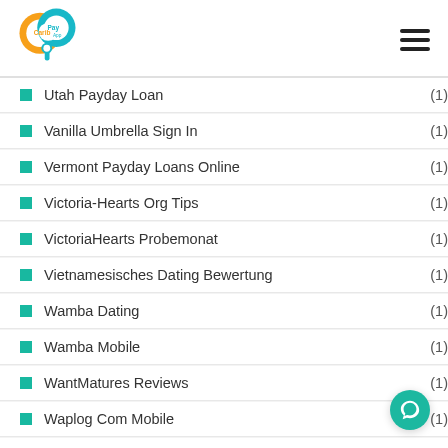Carib Pay App
Utah Payday Loan (1)
Vanilla Umbrella Sign In (1)
Vermont Payday Loans Online (1)
Victoria-Hearts Org Tips (1)
VictoriaHearts Probemonat (1)
Vietnamesisches Dating Bewertung (1)
Wamba Dating (1)
Wamba Mobile (1)
WantMatures Reviews (1)
Waplog Com Mobile (1)
Waplog Mobile (1)